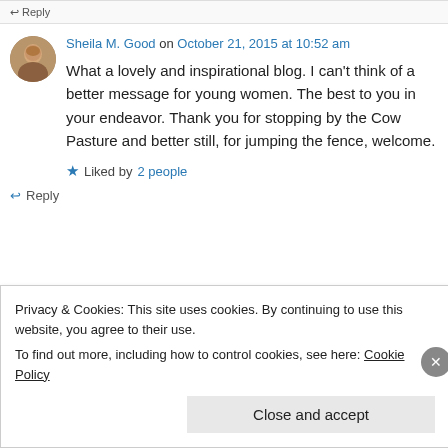↩ Reply
Sheila M. Good on October 21, 2015 at 10:52 am
What a lovely and inspirational blog. I can't think of a better message for young women. The best to you in your endeavor. Thank you for stopping by the Cow Pasture and better still, for jumping the fence, welcome.
★ Liked by 2 people
↩ Reply
Privacy & Cookies: This site uses cookies. By continuing to use this website, you agree to their use.
To find out more, including how to control cookies, see here: Cookie Policy
Close and accept